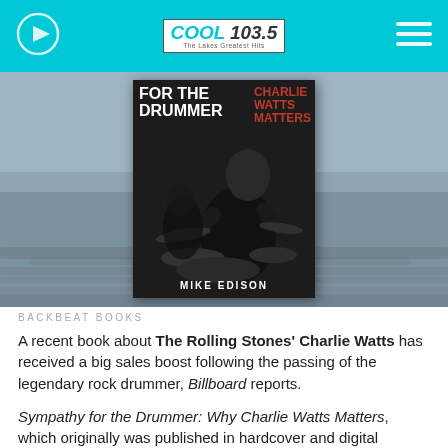COOL 103.5 — The Lakes Greatest Hits
[Figure (photo): Book cover of 'Sympathy for the Drummer: Why Charlie Watts Matters' by Mike Edison, showing a black and white photo of a drummer playing, with stylized text overlay. Background is a blurred lakeside scene.]
BACKBEAT BOOKS
A recent book about The Rolling Stones' Charlie Watts has received a big sales boost following the passing of the legendary rock drummer, Billboard reports.
Sympathy for the Drummer: Why Charlie Watts Matters, which originally was published in hardcover and digital editions in November 2019, has...